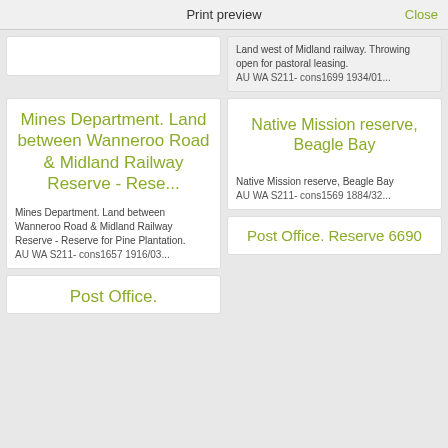Print preview   Close
Land west of Midland railway. Throwing open for pastoral leasing. AU WA S211- cons1699 1934/01...
Mines Department. Land between Wanneroo Road & Midland Railway Reserve - Rese...
Mines Department. Land between Wanneroo Road & Midland Railway Reserve - Reserve for Pine Plantation.
AU WA S211- cons1657 1916/03...
Native Mission reserve, Beagle Bay
Native Mission reserve, Beagle Bay
AU WA S211- cons1569 1884/32...
Post Office.
Post Office. Reserve 6690